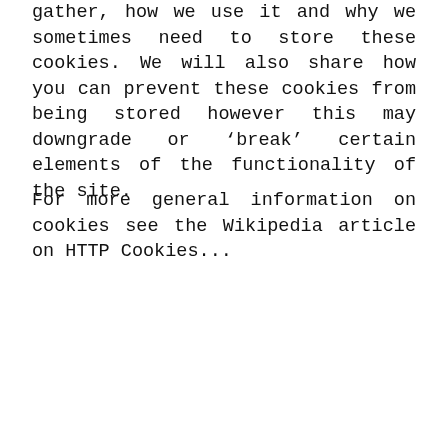gather, how we use it and why we sometimes need to store these cookies. We will also share how you can prevent these cookies from being stored however this may downgrade or ‘break’ certain elements of the functionality of the site.
For more general information on cookies see the Wikipedia article on HTTP Cookies...